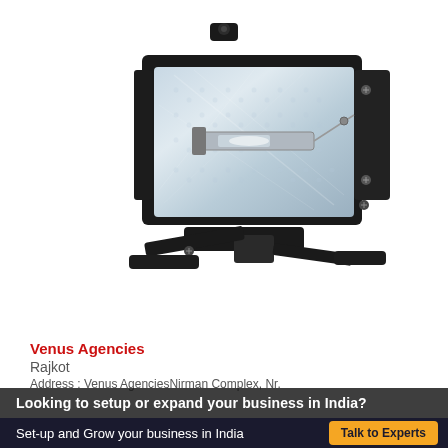[Figure (photo): A black halogen floodlight / work light fixture with a rectangular reflector housing, halogen bulb visible in the center, and an adjustable black metal mounting bracket at the bottom. The product is photographed on a white background.]
Venus Agencies
Rajkot
Address : Venus AgenciesNirman Complex, Nr.
Looking to setup or expand your business in India?
Set-up and Grow your business in India
Talk to Experts